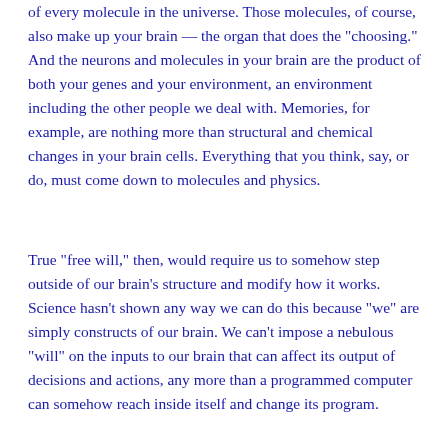of every molecule in the universe. Those molecules, of course, also make up your brain — the organ that does the "choosing." And the neurons and molecules in your brain are the product of both your genes and your environment, an environment including the other people we deal with. Memories, for example, are nothing more than structural and chemical changes in your brain cells. Everything that you think, say, or do, must come down to molecules and physics.
True "free will," then, would require us to somehow step outside of our brain's structure and modify how it works. Science hasn't shown any way we can do this because "we" are simply constructs of our brain. We can't impose a nebulous "will" on the inputs to our brain that can affect its output of decisions and actions, any more than a programmed computer can somehow reach inside itself and change its program.